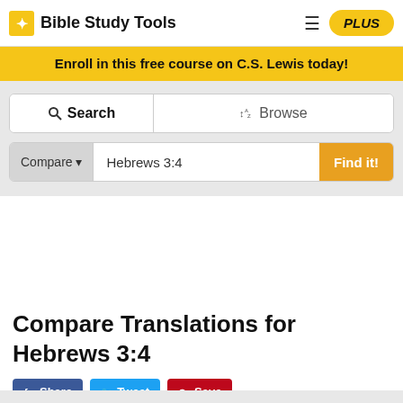Bible Study Tools
Enroll in this free course on C.S. Lewis today!
Search | Browse
Compare ▾  Hebrews 3:4  Find it!
Compare Translations for Hebrews 3:4
Share  Tweet  Save